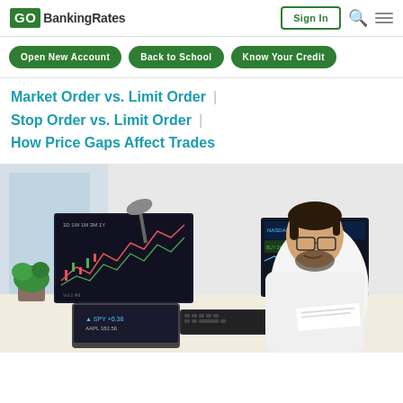GO BankingRates | Sign In
Open New Account
Back to School
Know Your Credit
Market Order vs. Limit Order |
Stop Order vs. Limit Order |
How Price Gaps Affect Trades
[Figure (photo): A smiling man with glasses and a beard sitting at a desk with multiple monitors showing trading charts, using a keyboard and papers in a bright office environment.]